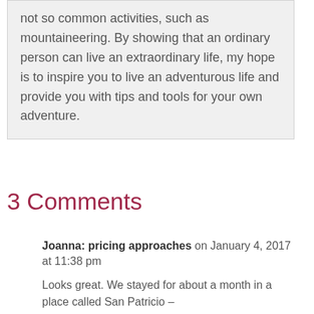not so common activities, such as mountaineering. By showing that an ordinary person can live an extraordinary life, my hope is to inspire you to live an adventurous life and provide you with tips and tools for your own adventure.
3 Comments
Joanna: pricing approaches on January 4, 2017 at 11:38 pm
Looks great. We stayed for about a month in a place called San Patricio –